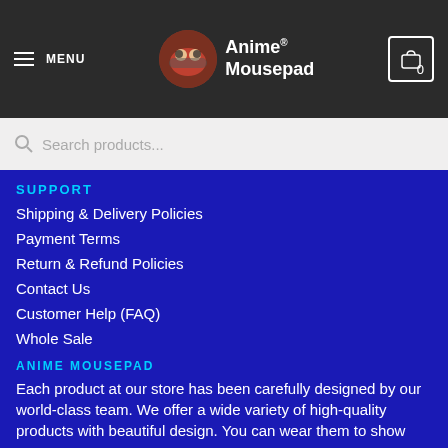MENU | Anime® Mousepad | 0
Search products...
SUPPORT
Shipping & Delivery Policies
Payment Terms
Return & Refund Policies
Contact Us
Customer Help (FAQ)
Whole Sale
ANIME MOUSEPAD
Each product at our store has been carefully designed by our world-class team. We offer a wide variety of high-quality products with beautiful design. You can wear them to show